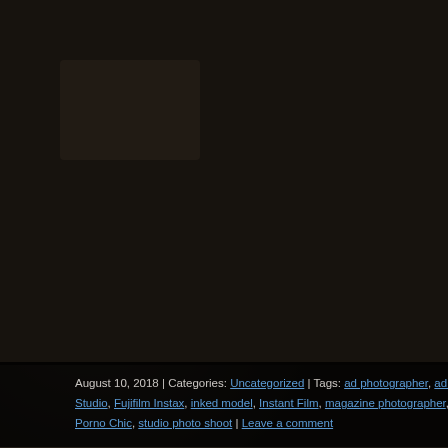[Figure (photo): Blog post page showing a partial photo with orange/red frame at top right, dark textured background on the left portion. The photo shows what appears to be a figure on a concrete-like floor with red/orange elements.]
August 10, 2018 | Categories: Uncategorized | Tags: ad photographer, ad photography, adverti... Studio, Fujifilm Instax, inked model, Instant Film, magazine photographer, Naked Chic, naked m... Porno Chic, studio photo shoot | Leave a comment
Shoot With Me
Most of you know me from my extensively published work in Bodybuilding and Fi... comers. To say the least my favorites include the incredible Ava Cowan; featured...
I would love to work with more of you, it is always great fun too. So whether it is f... note here or an e-mail to Ian@SecondFocus.com. And Thanks!